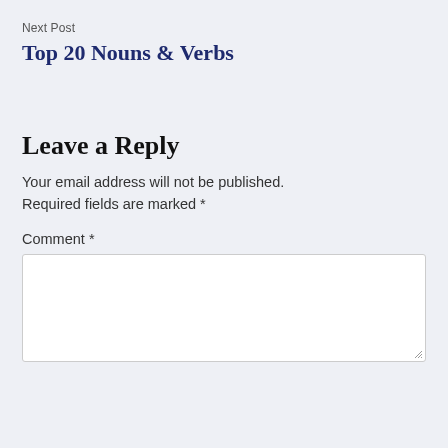Next Post
Top 20 Nouns & Verbs
Leave a Reply
Your email address will not be published. Required fields are marked *
Comment *